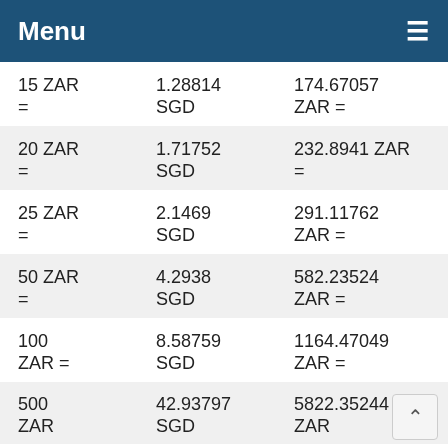Menu ≡
| ZAR | SGD | ZAR = | SGD |
| --- | --- | --- | --- |
| 15 ZAR = | 1.28814 SGD | 174.67057 ZAR = | 15 SGD |
| 20 ZAR = | 1.71752 SGD | 232.8941 ZAR = | 20 SGD |
| 25 ZAR = | 2.1469 SGD | 291.11762 ZAR = | 25 SGD |
| 50 ZAR = | 4.2938 SGD | 582.23524 ZAR = | 50 SGD |
| 100 ZAR = | 8.58759 SGD | 1164.47049 ZAR = | 100 SGD |
| 500 ZAR | 42.93797 SGD | 5822.35244 ZAR | 500 SGD |